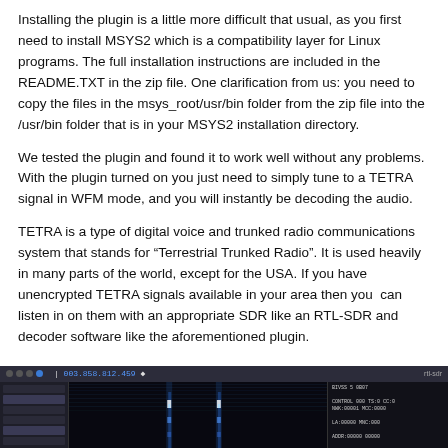Installing the plugin is a little more difficult that usual, as you first need to install MSYS2 which is a compatibility layer for Linux programs. The full installation instructions are included in the README.TXT in the zip file. One clarification from us: you need to copy the files in the msys_root/usr/bin folder from the zip file into the /usr/bin folder that is in your MSYS2 installation directory.
We tested the plugin and found it to work well without any problems. With the plugin turned on you just need to simply tune to a TETRA signal in WFM mode, and you will instantly be decoding the audio.
TETRA is a type of digital voice and trunked radio communications system that stands for “Terrestrial Trunked Radio”. It is used heavily in many parts of the world, except for the USA. If you have unencrypted TETRA signals available in your area then you  can listen in on them with an appropriate SDR like an RTL-SDR and decoder software like the aforementioned plugin.
[Figure (screenshot): Screenshot of an SDR (Software Defined Radio) application showing a waterfall display with TETRA signal at frequency 003.858.812.459, with a left panel showing menu options and a right panel showing decoded text/data output.]